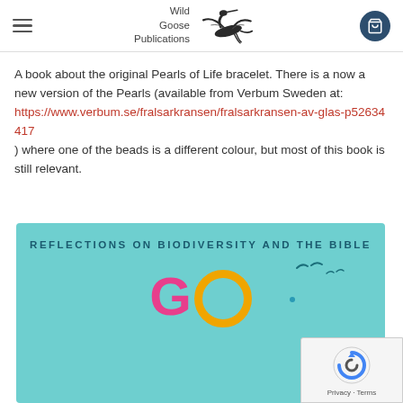Wild Goose Publications
A book about the original Pearls of Life bracelet. There is a now a new version of the Pearls (available from Verbum Sweden at: https://www.verbum.se/fralsarkransen/fralsarkransen-av-glas-p52634417 ) where one of the beads is a different colour, but most of this book is still relevant.
[Figure (photo): Book cover on teal/turquoise background reading 'REFLECTIONS ON BIODIVERSITY AND THE BIBLE' with large colourful 'GO' text below, G in pink and O as a yellow ring. Small bird silhouettes visible in the background.]